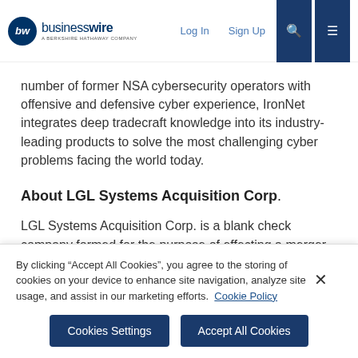businesswire — A BERKSHIRE HATHAWAY COMPANY | Log In | Sign Up
number of former NSA cybersecurity operators with offensive and defensive cyber experience, IronNet integrates deep tradecraft knowledge into its industry-leading products to solve the most challenging cyber problems facing the world today.
About LGL Systems Acquisition Corp.
LGL Systems Acquisition Corp. is a blank check company formed for the purpose of effecting a merger with a target business in the cybersecurity, C4ISR, data processing, and/or analytics sectors, with a broad range of applications across the aerospace, defense,
By clicking “Accept All Cookies”, you agree to the storing of cookies on your device to enhance site navigation, analyze site usage, and assist in our marketing efforts.  Cookie Policy
Cookies Settings | Accept All Cookies